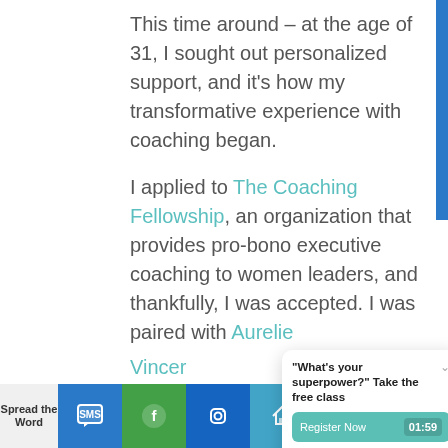This time around – at the age of 31, I sought out personalized support, and it's how my transformative experience with coaching began.
I applied to The Coaching Fellowship, an organization that provides pro-bono executive coaching to women leaders, and thankfully, I was accepted. I was paired with Aurelie Vincer... business... Paris t...
[Figure (screenshot): Popup modal with title '"What's your superpower?" Take the free class', a teal 'Register Now' button with countdown timer '01:59', '7 more sessions ›' link, and 'Powered by eWebinar' branding.]
Spread the Word
[Figure (infographic): Bottom bar with share buttons: blue SMS icon button, green button, dark blue button, light blue button]